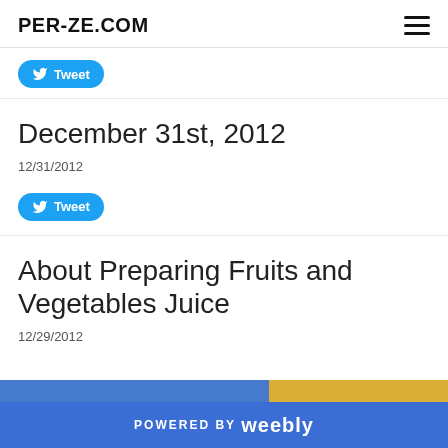PER-ZE.COM
[Figure (other): Tweet button (Twitter/X share button, blue pill shape with bird icon and 'Tweet' label)]
December 31st, 2012
12/31/2012
[Figure (other): Tweet button (Twitter/X share button, blue pill shape with bird icon and 'Tweet' label)]
About Preparing Fruits and Vegetables Juice
12/29/2012
POWERED BY weebly